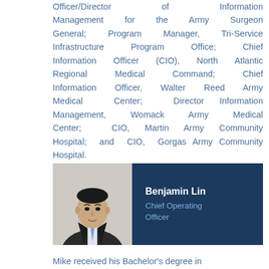Officer/Director of Information Management for the Army Surgeon General; Program Manager, Tri-Service Infrastructure Program Office; Chief Information Officer (CIO), North Atlantic Regional Medical Command; Chief Information Officer, Walter Reed Army Medical Center; Director Information Management, Womack Army Medical Center; CIO, Martin Army Community Hospital; and CIO, Gorgas Army Community Hospital.
[Figure (photo): Profile photo card for Benjamin Lin, Chief Operating Officer. Left half shows a headshot photo of a man in a suit, right half is a dark navy blue panel with white text showing name and title.]
Mike received his Bachelor's degree in